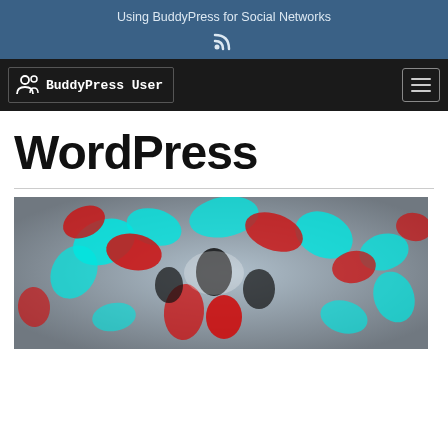Using BuddyPress for Social Networks
[Figure (logo): BuddyPress User logo with person icon in white on dark nav bar]
WordPress
[Figure (photo): Abstract 3D rendered image with red and cyan exploding shapes on grey background]